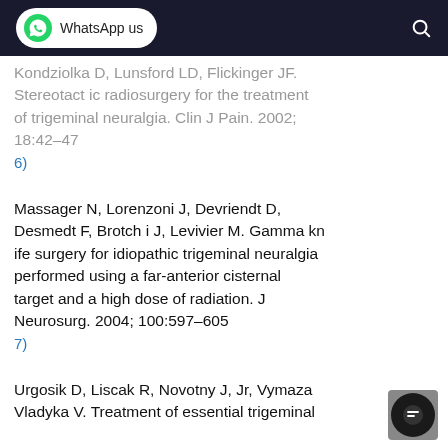WhatsApp us
Kondziolka D, Lunsford LD, Flickinger JF. Stereotactic radiosurgery for the treatment of trigeminal neuralgia. Clin J Pain. 2002; 18:42–47
6)
Massager N, Lorenzoni J, Devriendt D, Desmedt F, Brotchi J, Levivier M. Gamma knife surgery for idiopathic trigeminal neuralgia performed using a far-anterior cisternal target and a high dose of radiation. J Neurosurg. 2004; 100:597–605
7)
Urgosik D, Liscak R, Novotny J, Jr, Vymazal J, Vladyka V. Treatment of essential trigeminal